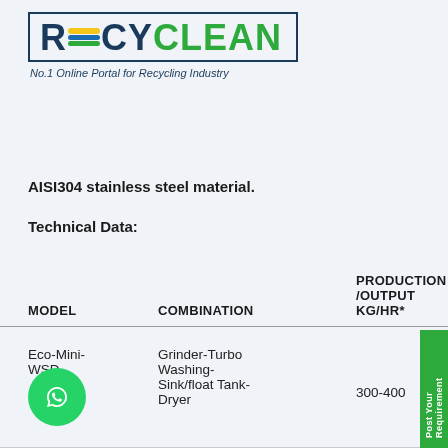[Figure (logo): Recyclean logo with tagline 'No.1 Online Portal for Recycling Industry']
AISI304 stainless steel material.
Technical Data:
| MODEL | COMBINATION | PRODUCTION /OUTPUT KG/HR* |
| --- | --- | --- |
| Eco-Mini-
WSD | Grinder-Turbo Washing-
Sink/float Tank-
Dryer | 300-400 |
| Eco-Mini- | Turbo Washing-
Sink/float Tank- | 300-400 |